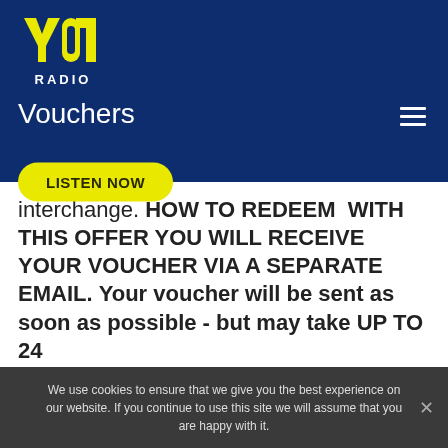[Figure (logo): YO1 Radio logo with yellow angular 'YO1' text and white 'RADIO' label below]
Vouchers
[Figure (other): Hamburger menu icon (three horizontal lines)]
[Figure (other): Yellow 'LISTEN NOW' button]
interchange. HOW TO REDEEM  WITH THIS OFFER YOU WILL RECEIVE YOUR VOUCHER VIA A SEPARATE EMAIL. Your voucher will be sent as soon as possible - but may take UP TO 24
We use cookies to ensure that we give you the best experience on our website. If you continue to use this site we will assume that you are happy with it.
Ok